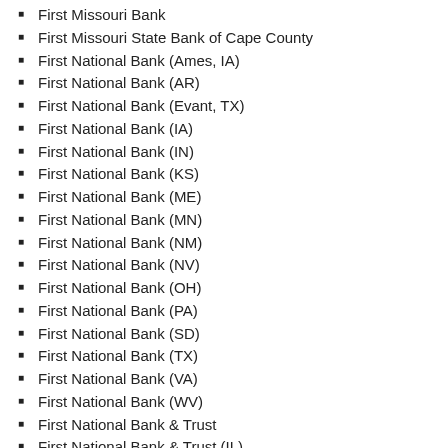First Missouri Bank
First Missouri State Bank of Cape County
First National Bank (Ames, IA)
First National Bank (AR)
First National Bank (Evant, TX)
First National Bank (IA)
First National Bank (IN)
First National Bank (KS)
First National Bank (ME)
First National Bank (MN)
First National Bank (NM)
First National Bank (NV)
First National Bank (OH)
First National Bank (PA)
First National Bank (SD)
First National Bank (TX)
First National Bank (VA)
First National Bank (WV)
First National Bank & Trust
First National Bank & Trust (IL)